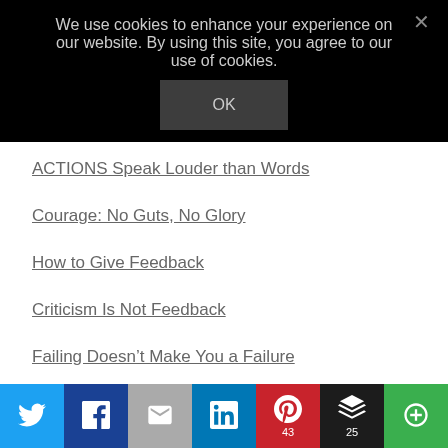We use cookies to enhance your experience on our website. By using this site, you agree to our use of cookies.
OK
ACTIONS Speak Louder than Words
Courage: No Guts, No Glory
How to Give Feedback
Criticism Is Not Feedback
Failing Doesn’t Make You a Failure
Attention, Control Freaks: It’s Time to Delegate
SEARCH
[Figure (infographic): Social share buttons bar: Twitter, Facebook, Email, LinkedIn, Pinterest (43), Buffer (25), More]